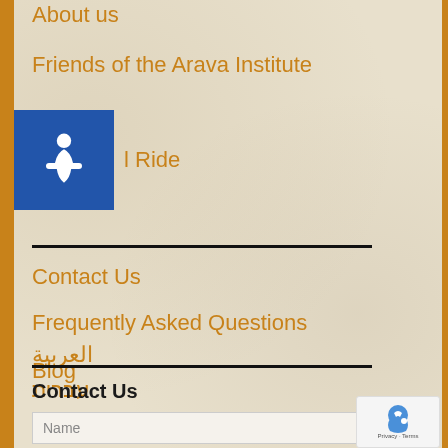About us
Friends of the Arava Institute
l Ride
Contact Us
Frequently Asked Questions
Blog
العربية
עברית
Contact Us
Name